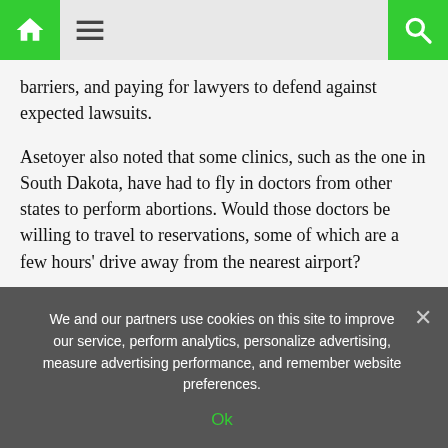Navigation bar with home icon, menu icon, and search icon
barriers, and paying for lawyers to defend against expected lawsuits.
Asetoyer also noted that some clinics, such as the one in South Dakota, have had to fly in doctors from other states to perform abortions. Would those doctors be willing to travel to reservations, some of which are a few hours' drive away from the nearest airport?
Although the current conversation about potential abortion services on Native land is mostly being raised by non-Indigenous people, Native Americans have their own history of abortion and reproductive rights advocacy.
We and our partners use cookies on this site to improve our service, perform analytics, personalize advertising, measure advertising performance, and remember website preferences.
Ok